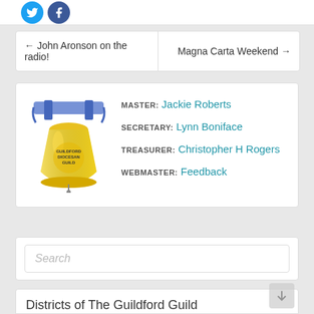[Figure (logo): Twitter and Facebook social media icon buttons (circles with bird and f logos)]
← John Aronson on the radio!
Magna Carta Weekend →
[Figure (logo): Guildford Diocesan Guild bell logo - gold bell with blue frame and banner]
MASTER: Jackie Roberts
SECRETARY: Lynn Boniface
TREASURER: Christopher H Rogers
WEBMASTER: Feedback
Search
Districts of The Guildford Guild